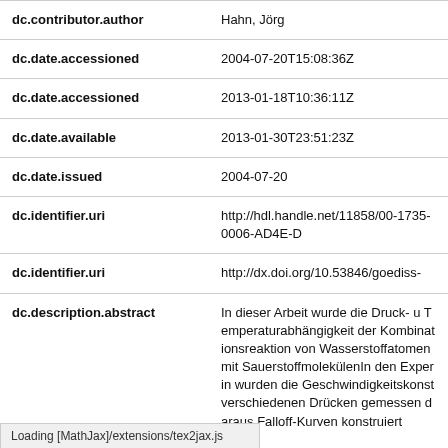| Field | Value |
| --- | --- |
| dc.contributor.author | Hahn, Jörg |
| dc.date.accessioned | 2004-07-20T15:08:36Z |
| dc.date.accessioned | 2013-01-18T10:36:11Z |
| dc.date.available | 2013-01-30T23:51:23Z |
| dc.date.issued | 2004-07-20 |
| dc.identifier.uri | http://hdl.handle.net/11858/00-1735-0006-AD4E-D |
| dc.identifier.uri | http://dx.doi.org/10.53846/goediss- |
| dc.description.abstract | In dieser Arbeit wurde die Druck- u Temperaturabhängigkeit der Kombinationsreaktion von Wasserstoffatomen mit SauerstoffmolekülenIn den Experin wurden die Geschwindigkeitskonst verschiedenen Drücken gemessen daraus Falloff-Kurven konstruiert... |
Loading [MathJax]/extensions/tex2jax.js